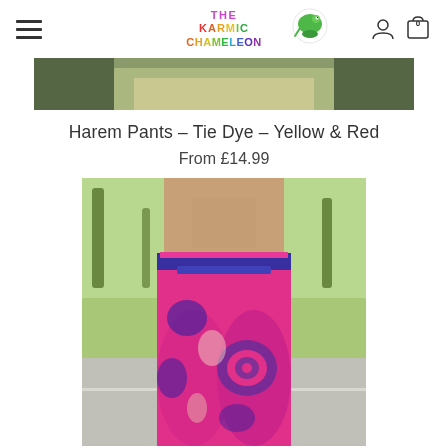The Karmic Chameleon - navigation header with hamburger menu and cart icon
[Figure (photo): Cropped image at top showing outdoor scenery - partial product photo]
Harem Pants - Tie Dye - Yellow & Red
From £14.99
[Figure (photo): Woman wearing pink and purple tie-dye harem pants, viewed from behind, outdoors with palm trees]